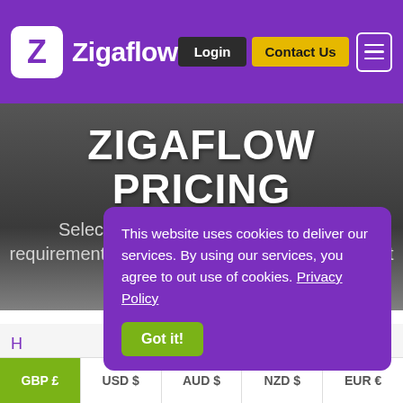Zigaflow — Login | Contact Us
ZIGAFLOW PRICING
Select the right package to suit your requirements and take your business to the next level
This website uses cookies to deliver our services. By using our services, you agree to out use of cookies. Privacy Policy
Got it!
H
GBP £  USD $  AUD $  NZD $  EUR €